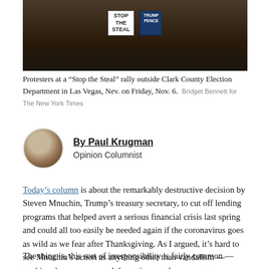[Figure (photo): Protesters at a Stop the Steal rally, dark crowd scene with signs including STOP THE STEAL and TRUMP PENCE signs]
Protesters at a “Stop the Steal” rally outside Clark County Election Department in Las Vegas, Nev. on Friday, Nov. 6. Bridget Bennett for The New York Times
By Paul Krugman
Opinion Columnist
Today’s column is about the remarkably destructive decision by Steven Mnuchin, Trump’s treasury secretary, to cut off lending programs that helped avert a serious financial crisis last spring and could all too easily be needed again if the coronavirus goes as wild as we fear after Thanksgiving. As I argued, it’s hard to see Mnuchin’s action as anything other than vandalism — trashing the economy, and the nation, on the way out.
The thing is, this sort of irresponsibility is fairly common —